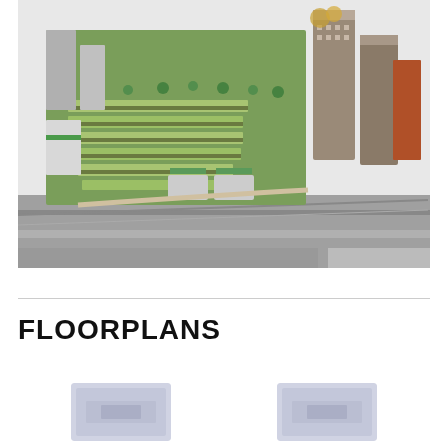[Figure (photo): Aerial architectural rendering of a large mixed-use urban development with green rooftops, tree-lined streets, residential terraces, and tall residential towers. Lower portion of the image transitions to a black-and-white aerial photograph of surrounding industrial/infrastructure areas.]
FLOORPLANS
[Figure (photo): Two blurred/redacted floorplan thumbnail images side by side.]